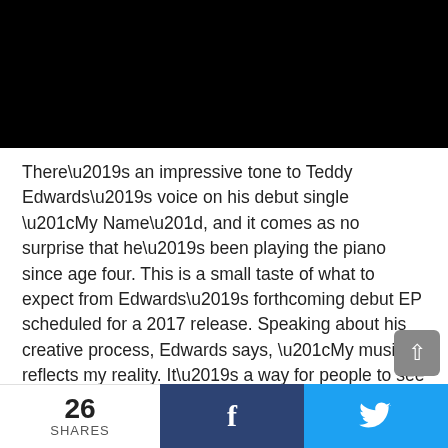[Figure (photo): Dark/black image at the top of the page, likely a video thumbnail or photo]
There’s an impressive tone to Teddy Edwards’s voice on his debut single “My Name”, and it comes as no surprise that he’s been playing the piano since age four. This is a small taste of what to expect from Edwards’s forthcoming debut EP scheduled for a 2017 release. Speaking about his creative process, Edwards says, “My music reflects my reality. It’s a way for people to see who I really am.”
Even more music will be posted on the site in the coming days, including some great new albums and
26 SHARES  f  ♥